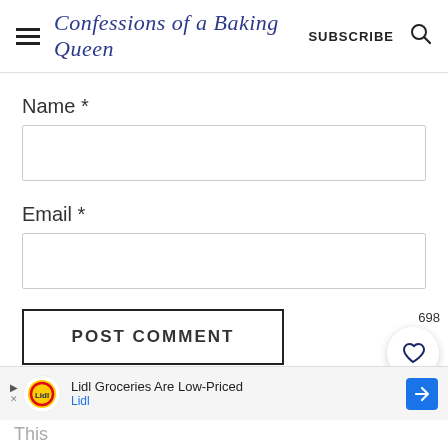Confessions of a Baking Queen | SUBSCRIBE
Name *
Email *
POST COMMENT
698
Lidl Groceries Are Low-Priced
Lidl
This